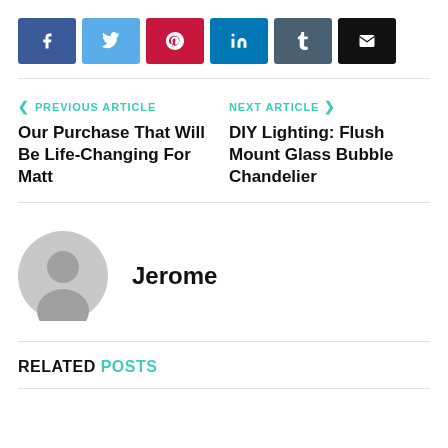[Figure (infographic): Social sharing buttons row: Facebook (blue), Twitter (light blue), Pinterest (red), LinkedIn (dark blue), Tumblr (slate), Email (black)]
PREVIOUS ARTICLE — Our Purchase That Will Be Life-Changing For Matt
NEXT ARTICLE — DIY Lighting: Flush Mount Glass Bubble Chandelier
Jerome
RELATED POSTS